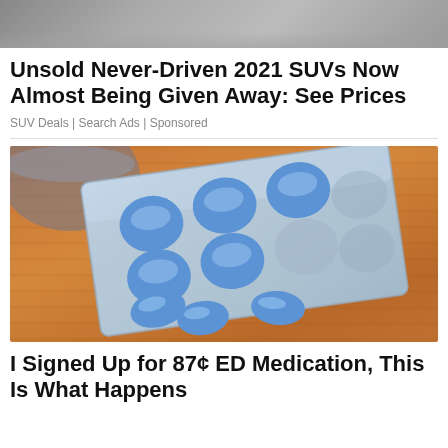[Figure (photo): Partial top image of a car/SUV, cropped at top of page]
Unsold Never-Driven 2021 SUVs Now Almost Being Given Away: See Prices
SUV Deals | Search Ads | Sponsored
[Figure (photo): Blue pills/tablets on a wooden surface with a blister pack, some pills removed from packaging]
I Signed Up for 87¢ ED Medication, This Is What Happens